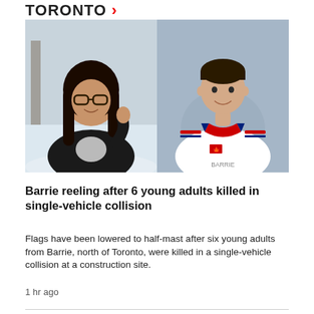TORONTO >
[Figure (photo): Two side-by-side photos: left shows a young woman with long dark hair and glasses smiling outdoors in winter; right shows a young man smiling in a white hockey jersey with a Canadian flag patch.]
Barrie reeling after 6 young adults killed in single-vehicle collision
Flags have been lowered to half-mast after six young adults from Barrie, north of Toronto, were killed in a single-vehicle collision at a construction site.
1 hr ago